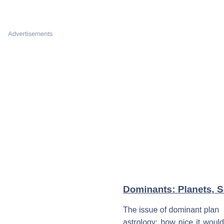Advertisements
Dominants: Planets, Sign
The issue of dominant planets, astrology: how nice it would be words and one or several p